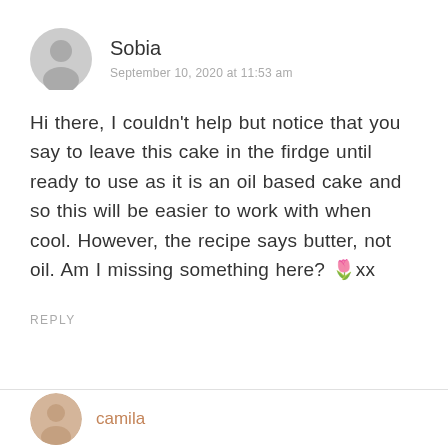[Figure (illustration): Generic user avatar icon — grey circle with person silhouette]
Sobia
September 10, 2020 at 11:53 am
Hi there, I couldn't help but notice that you say to leave this cake in the firdge until ready to use as it is an oil based cake and so this will be easier to work with when cool. However, the recipe says butter, not oil. Am I missing something here? 🌷xx
REPLY
[Figure (photo): Profile photo of commenter 'camila']
camila